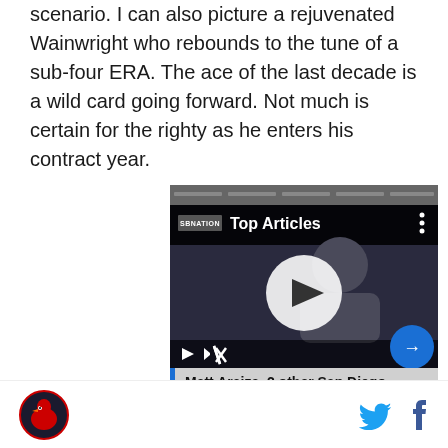scenario. I can also picture a rejuvenated Wainwright who rebounds to the tune of a sub-four ERA. The ace of the last decade is a wild card going forward. Not much is certain for the righty as he enters his contract year.
[Figure (screenshot): Embedded video player with 'Top Articles' overlay showing SBNation branding and a news headline 'Matt Araiza, 2 other San Diego State football players, accused of gang rape in lawsuit'. The player shows a person in the background with a large play button circle in the center, playback controls at the bottom left, and a blue arrow navigation button at the bottom right.]
Cardinals logo icon | Twitter icon | Facebook icon